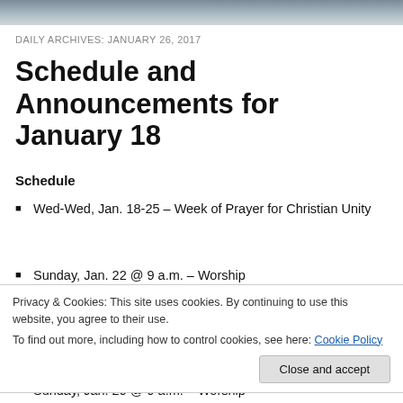[Figure (photo): Partial photo strip at top of page, appears to be a sky or nature scene in grey/blue tones]
DAILY ARCHIVES: JANUARY 26, 2017
Schedule and Announcements for January 18
Schedule
Wed-Wed, Jan. 18-25 – Week of Prayer for Christian Unity
Sunday, Jan. 22 @ 9 a.m. – Worship
Privacy & Cookies: This site uses cookies. By continuing to use this website, you agree to their use.
To find out more, including how to control cookies, see here: Cookie Policy
Sunday, Jan. 29 @ 9 a.m. – Worship